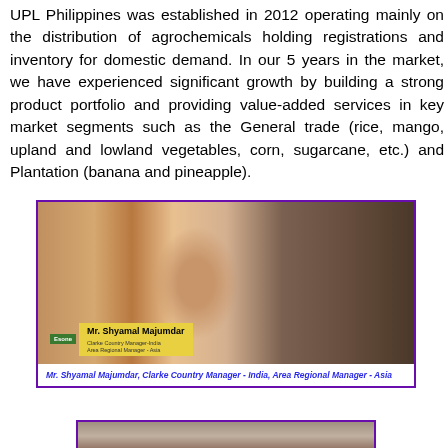UPL Philippines was established in 2012 operating mainly on the distribution of agrochemicals holding registrations and inventory for domestic demand. In our 5 years in the market, we have experienced significant growth by building a strong product portfolio and providing value-added services in key market segments such as the General trade (rice, mango, upland and lowland vegetables, corn, sugarcane, etc.) and Plantation (banana and pineapple).
[Figure (photo): Video screenshot of Mr. Shyamal Majumdar, Clarke Country Manager - India, Area Regional Manager - Asia, shown with a name tag overlay on the bottom left of the image.]
Mr. Shyamal Majumdar, Clarke Country Manager - India, Area Regional Manager - Asia
[Figure (photo): Partial view of another person, cropped at the bottom of the page, inside a purple-bordered box.]